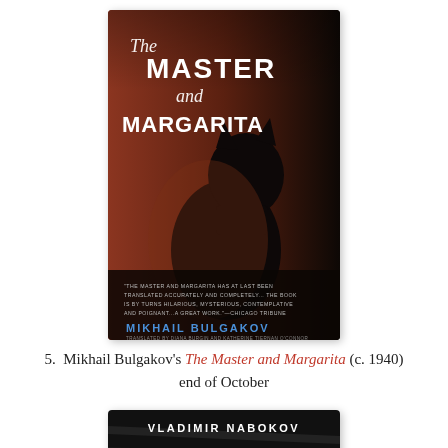[Figure (illustration): Book cover of 'The Master and Margarita' by Mikhail Bulgakov. Dark cover with reddish-brown tones showing silhouette of a black cat. White serif title text 'The Master and Margarita' at top. Author name 'MIKHAIL BULGAKOV' in blue text near bottom. Small quote text about the book.]
5.  Mikhail Bulgakov's The Master and Margarita (c. 1940) end of October
[Figure (illustration): Partial book cover of a Vladimir Nabokov book. Dark cover with 'VLADIMIR NABOKOV' in white text at top. Quote text 'The only convincing love story of our century' visible.]